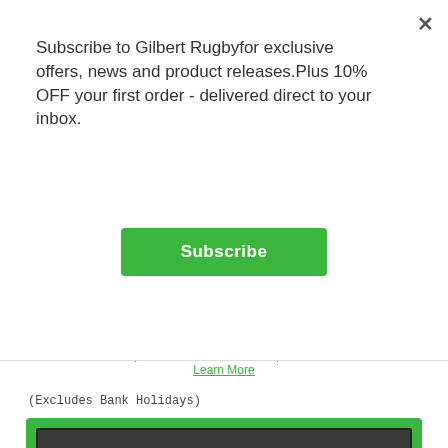Subscribe to Gilbert Rugbyfor exclusive offers, news and product releases.Plus 10% OFF your first order - delivered direct to your inbox.
Subscribe
up to 75 Gilbert Points with this purchase
Learn More
(Excludes Bank Holidays)
[Figure (illustration): Dark grey banner with green border containing bold white text: DIGITAL GIFT CARDS - AVAILABLE WITH IMMEDIATE DELIVERY]